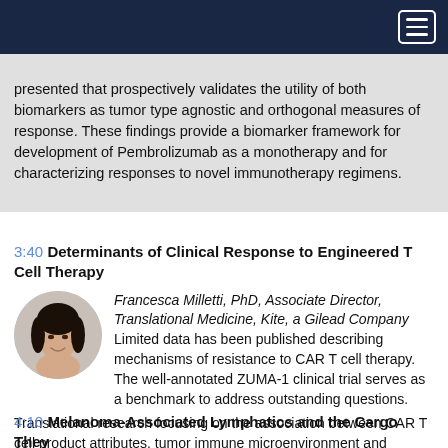Navigation bar
presented that prospectively validates the utility of both biomarkers as tumor type agnostic and orthogonal measures of response. These findings provide a biomarker framework for development of Pembrolizumab as a monotherapy and for characterizing responses to novel immunotherapy regimens.
3:40 Determinants of Clinical Response to Engineered T Cell Therapy
[Figure (photo): Headshot of Francesca Milletti, PhD — woman with dark hair, smiling, circular crop]
Francesca Milletti, PhD, Associate Director, Translational Medicine, Kite, a Gilead Company Limited data has been published describing mechanisms of resistance to CAR T cell therapy. The well-annotated ZUMA-1 clinical trial serves as a benchmark to address outstanding questions. Translational research focusing on the association between CAR T cell product attributes, tumor immune microenvironment and resistance will be presented.
4:10 Melanoma-Associated Lymphatics and the Cargo They